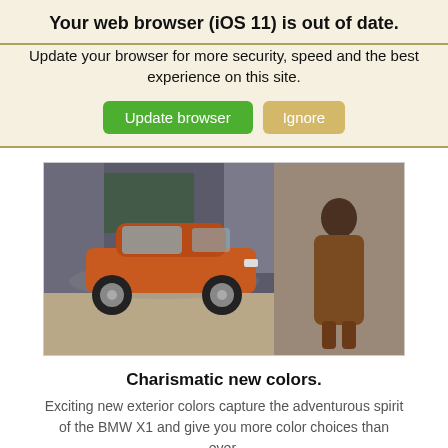Your web browser (iOS 11) is out of date.
Update your browser for more security, speed and the best experience on this site.
Update browser   Ignore
[Figure (photo): An orange BMW X1 SUV parked in a courtyard, with a woman in a brown dress leaning against a wall on the right side.]
Charismatic new colors.
Exciting new exterior colors capture the adventurous spirit of the BMW X1 and give you more color choices than ever.
This site uses cookies.   OK